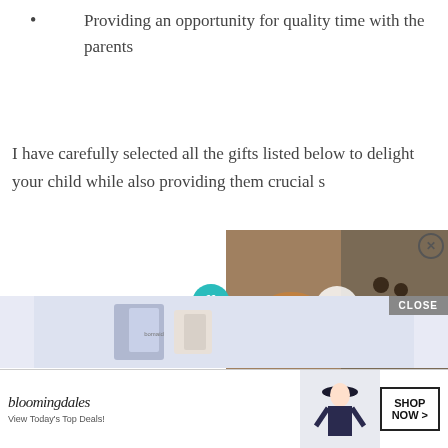Providing an opportunity for quality time with the parents
I have carefully selected all the gifts listed below to delight your child while also providing them crucial s...
[Figure (screenshot): Advertisement overlay showing a video thumbnail with German shepherd puppy, turkey leg, pumpkin pie, a '22 Words' circular badge, and headline '37 GENIUS PRODUCTS THAT CAN BE USED BY ANYONE']
[Figure (screenshot): Bloomingdale's advertisement banner with fashion model in hat, 'View Today's Top Deals!' text, and 'SHOP NOW >' button]